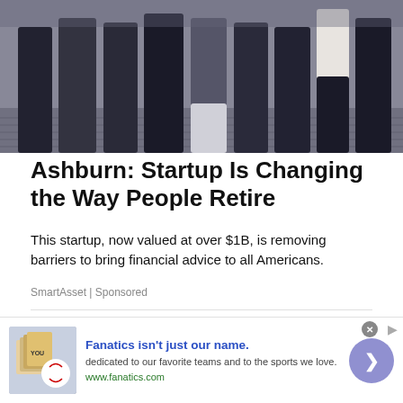[Figure (photo): Group photo of people standing outdoors on a cobblestone surface, showing lower body/legs of multiple individuals]
Ashburn: Startup Is Changing the Way People Retire
This startup, now valued at over $1B, is removing barriers to bring financial advice to all Americans.
SmartAsset | Sponsored
[Figure (photo): Woman with sunglasses and blonde hair holding a bag outdoors at a scenic rocky location]
[Figure (photo): Advertisement banner for Fanatics showing sports merchandise books/products image]
Fanatics isn't just our name. dedicated to our favorite teams and to the sports we love. www.fanatics.com